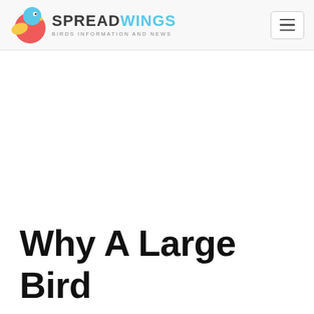SPREADWINGS BIRDS INFORMATION AND NEWS
Why A Large Bird